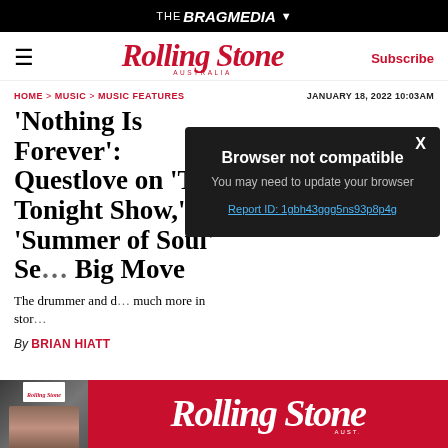THE BRAG MEDIA ▾
RollingStone AUSTRALIA | Subscribe
HOME > MUSIC > MUSIC FEATURES | JANUARY 18, 2022 10:03AM
'Nothing Is Forever': Questlove on 'The Tonight Show,' 'Summer of Soul' Se… Big Move
The drummer and d… much more in stor…
By BRIAN HIATT
[Figure (screenshot): Browser not compatible modal dialog with dark background. Text reads: 'Browser not compatible. You may need to update your browser. Report ID: 1gbh43ggg5ns93p8p4g'. Has an X close button.]
[Figure (logo): Rolling Stone Australia advertisement banner in red with logo on right and magazine cover image on left.]